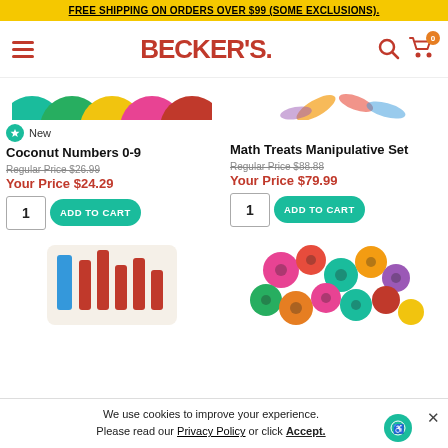FREE SHIPPING ON ORDERS OVER $99 (SOME EXCLUSIONS).
[Figure (logo): Becker's School Supplies logo with hamburger menu, search icon, and cart icon with badge showing 0]
[Figure (photo): Partial top view of colorful round discs/counters in teal, green, yellow, pink, red — product image for Coconut Numbers 0-9]
New
Coconut Numbers 0-9
Regular Price $26.99
Your Price $24.29
[Figure (photo): Partial product image for Math Treats Manipulative Set showing small candy/treat shapes]
Math Treats Manipulative Set
Regular Price $88.88
Your Price $79.99
[Figure (photo): Bottom partial view of a wooden product with numbered/lettered blocks — second row left product]
[Figure (photo): Colorful flower-shaped wooden manipulatives in pink, teal, orange, and other colors]
We use cookies to improve your experience. Please read our Privacy Policy or click Accept.